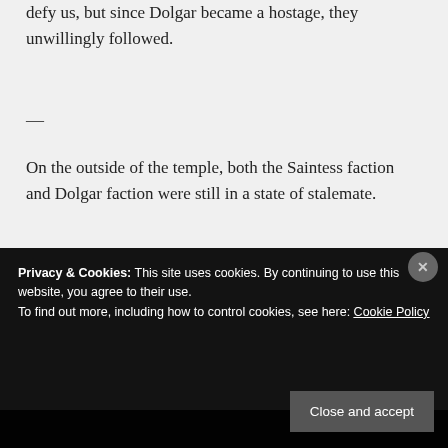defy us, but since Dolgar became a hostage, they unwillingly followed.
—
On the outside of the temple, both the Saintess faction and Dolgar faction were still in a state of stalemate.
Privacy & Cookies: This site uses cookies. By continuing to use this website, you agree to their use.
To find out more, including how to control cookies, see here: Cookie Policy
Close and accept